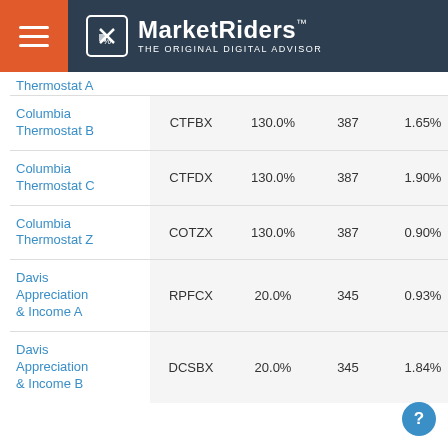MarketRiders THE ORIGINAL DIGITAL ADVISOR
| Fund Name | Ticker | Overlap% | Days | Expense |
| --- | --- | --- | --- | --- |
| Thermostat A |  |  |  |  |
| Columbia Thermostat B | CTFBX | 130.0% | 387 | 1.65% |
| Columbia Thermostat C | CTFDX | 130.0% | 387 | 1.90% |
| Columbia Thermostat Z | COTZX | 130.0% | 387 | 0.90% |
| Davis Appreciation & Income A | RPFCX | 20.0% | 345 | 0.93% |
| Davis Appreciation & Income B | DCSBX | 20.0% | 345 | 1.84% |